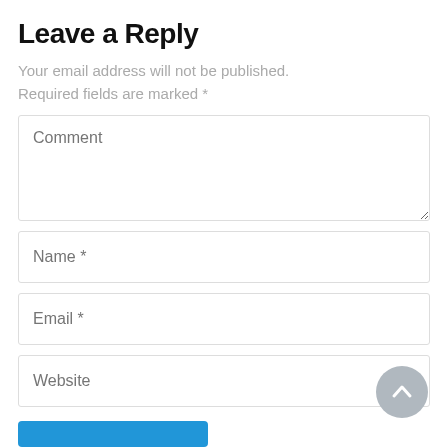Leave a Reply
Your email address will not be published. Required fields are marked *
[Figure (screenshot): Web comment form with fields: Comment (textarea), Name *, Email *, Website, and a blue submit button. A grey circular scroll-to-top button overlaps the Website field in the bottom-right corner.]